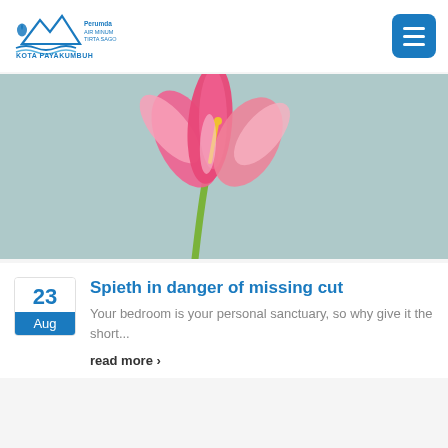[Figure (logo): Perumda Air Minum Tirta Sago Kota Payakumbuh logo with mountain and water wave illustration]
[Figure (photo): Pink calla lily flowers on a light teal/mint background, centered slightly to the left]
Spieth in danger of missing cut
Your bedroom is your personal sanctuary, so why give it the short...
read more >